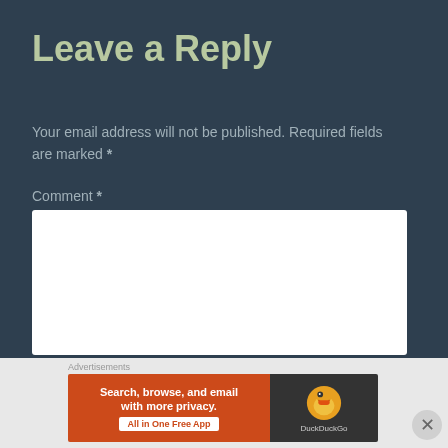Leave a Reply
Your email address will not be published. Required fields are marked *
Comment *
[Figure (screenshot): Empty comment text area input box with white background]
Advertisements
[Figure (screenshot): DuckDuckGo advertisement banner: 'Search, browse, and email with more privacy. All in One Free App' on orange background with DuckDuckGo duck logo on dark background]